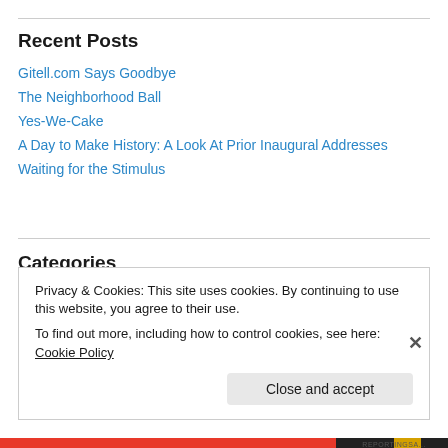Recent Posts
Gitell.com Says Goodbye
The Neighborhood Ball
Yes-We-Cake
A Day to Make History: A Look At Prior Inaugural Addresses
Waiting for the Stimulus
Categories
2008 Presidential Primaries
Privacy & Cookies: This site uses cookies. By continuing to use this website, you agree to their use.
To find out more, including how to control cookies, see here: Cookie Policy
Close and accept